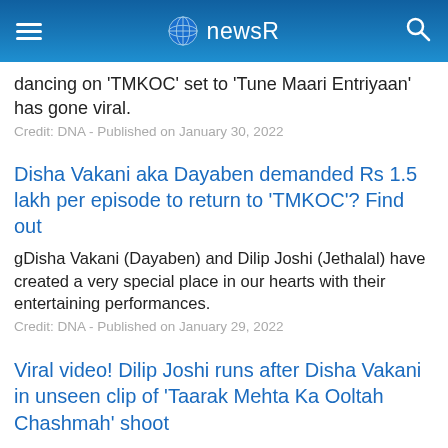newsR
dancing on 'TMKOC' set to 'Tune Maari Entriyaan' has gone viral.
Credit: DNA - Published on January 30, 2022
Disha Vakani aka Dayaben demanded Rs 1.5 lakh per episode to return to 'TMKOC'? Find out
gDisha Vakani (Dayaben) and Dilip Joshi (Jethalal) have created a very special place in our hearts with their entertaining performances.
Credit: DNA - Published on January 29, 2022
Viral video! Dilip Joshi runs after Disha Vakani in unseen clip of 'Taarak Mehta Ka Ooltah Chashmah' shoot
A shoot scene in which Dilip Joshi is in the frame